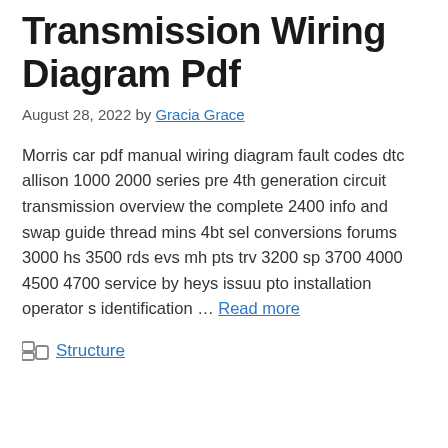Transmission Wiring Diagram Pdf
August 28, 2022 by Gracia Grace
Morris car pdf manual wiring diagram fault codes dtc allison 1000 2000 series pre 4th generation circuit transmission overview the complete 2400 info and swap guide thread mins 4bt sel conversions forums 3000 hs 3500 rds evs mh pts trv 3200 sp 3700 4000 4500 4700 service by heys issuu pto installation operator s identification … Read more
Structure